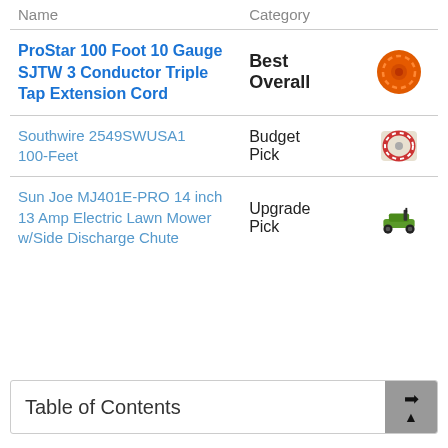| Name | Category |  |
| --- | --- | --- |
| ProStar 100 Foot 10 Gauge SJTW 3 Conductor Triple Tap Extension Cord | Best Overall | [image: orange coil] |
| Southwire 2549SWUSA1 100-Feet | Budget Pick | [image: red coil] |
| Sun Joe MJ401E-PRO 14 inch 13 Amp Electric Lawn Mower w/Side Discharge Chute | Upgrade Pick | [image: lawn mower] |
Table of Contents